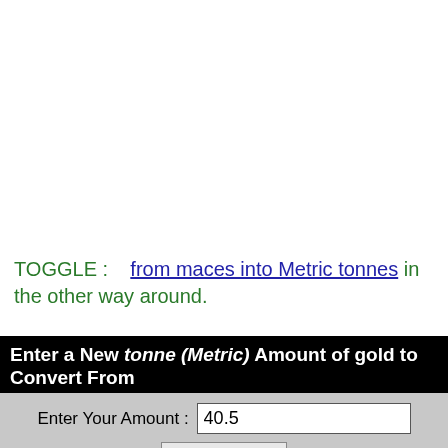TOGGLE : from maces into Metric tonnes in the other way around.
Enter a New tonne (Metric) Amount of gold to Convert From
* Enter whole numbers, decimals or fractions (ie: 6, 5.33, 17 3/8)
Enter Your Amount : 40.5
Convert